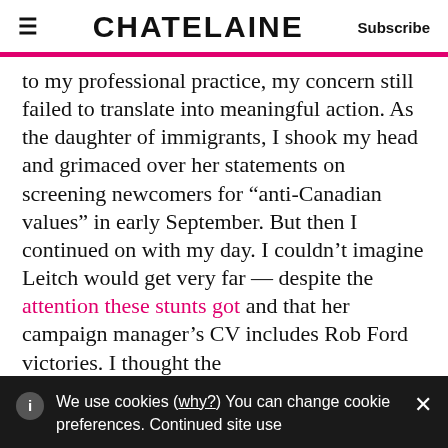≡  CHATELAINE  Subscribe
to my professional practice, my concern still failed to translate into meaningful action. As the daughter of immigrants, I shook my head and grimaced over her statements on screening newcomers for “anti-Canadian values” in early September. But then I continued on with my day. I couldn’t imagine Leitch would get very far — despite the attention these stunts got and that her campaign manager’s CV includes Rob Ford victories. I thought the
We use cookies (why?) You can change cookie preferences. Continued site use